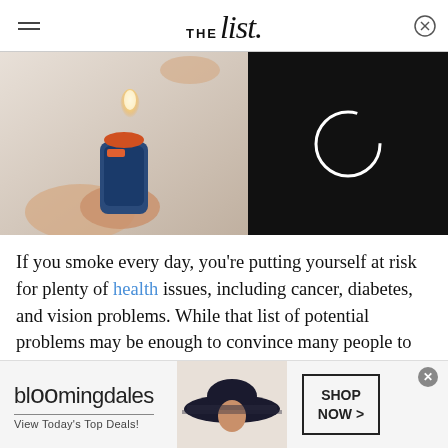THE list.
[Figure (photo): Split image: left half shows a hand holding a lighter with a flame on a light grey background; right half is a black panel with a white loading circle spinner.]
If you smoke every day, you're putting yourself at risk for plenty of health issues, including cancer, diabetes, and vision problems. While that list of potential problems may be enough to convince many people to steer clear of smoking, some people may find themselves attracted to cigarettes because of their
[Figure (screenshot): Bloomingdale's advertisement banner: Bloomingdales logo, 'View Today's Top Deals!' tagline, woman in wide-brim hat, and 'SHOP NOW >' button.]